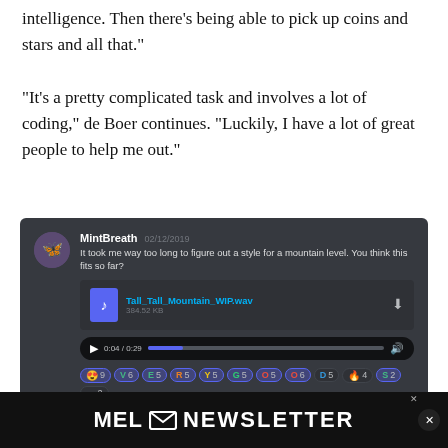intelligence. Then there’s being able to pick up coins and stars and all that.”
“It’s a pretty complicated task and involves a lot of coding,” de Boer continues. “Luckily, I have a lot of great people to help me out.”
[Figure (screenshot): Discord chat screenshot showing MintBreath posting a mountain level audio file 'Tall_Tall_Mountain_WIP.wav' (384.52 KB, 0:04/0:29) with emoji reactions, followed by harold95 responding 'damn i love it good work']
[Figure (other): MEL Newsletter signup banner at bottom of page]